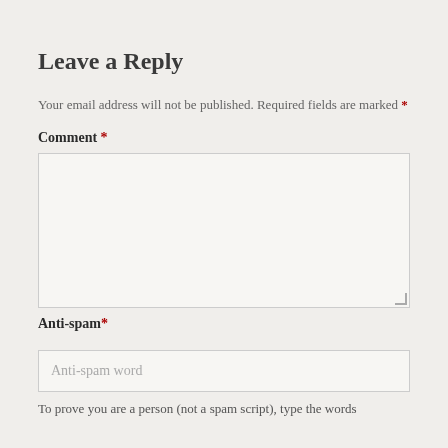Leave a Reply
Your email address will not be published. Required fields are marked *
Comment *
[Figure (other): Large textarea input field for comment, with resize handle at bottom-right]
Anti-spam*
[Figure (other): Text input field with placeholder text 'Anti-spam word']
To prove you are a person (not a spam script), type the words